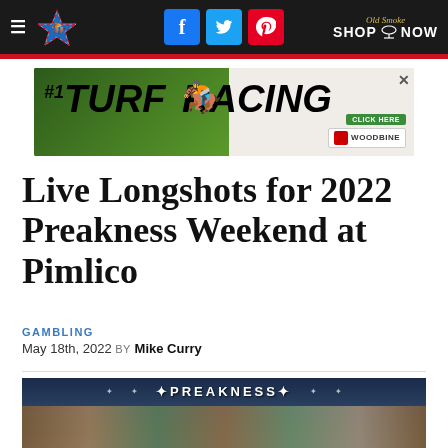Navigation bar with hamburger menu, logo, Facebook/Twitter/Pinterest social links, and Old Smoke Shop Now advertisement
[Figure (illustration): Advertisement banner for #1 Turf Racing at Woodbine with a Click Here button]
Live Longshots for 2022 Preakness Weekend at Pimlico
GAMBLING
May 18th, 2022 BY Mike Curry
[Figure (photo): Photo of horse racing at Preakness with crowd in background, PREAKNESS sign visible]